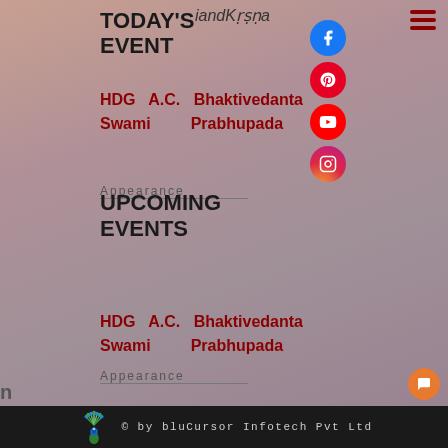iandKṛṣṇa
TODAY'S EVENT
HDG A.C. Bhaktivedanta Swami Prabhupada Appearance
UPCOMING EVENTS
HDG A.C. Bhaktivedanta Swami Prabhupada Appearance
© by bluCursor Infotech Pvt Ltd